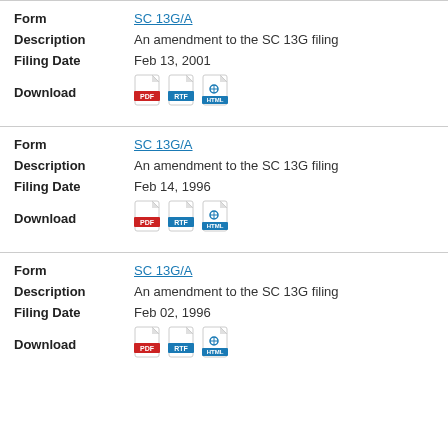| Field | Value |
| --- | --- |
| Form | SC 13G/A |
| Description | An amendment to the SC 13G filing |
| Filing Date | Feb 13, 2001 |
| Download | PDF RTF HTML |
| Field | Value |
| --- | --- |
| Form | SC 13G/A |
| Description | An amendment to the SC 13G filing |
| Filing Date | Feb 14, 1996 |
| Download | PDF RTF HTML |
| Field | Value |
| --- | --- |
| Form | SC 13G/A |
| Description | An amendment to the SC 13G filing |
| Filing Date | Feb 02, 1996 |
| Download | PDF RTF HTML |